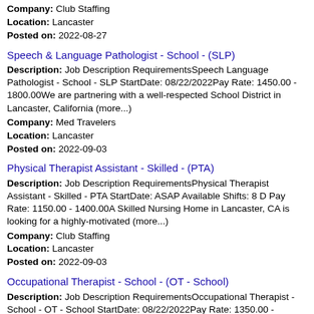Company: Club Staffing
Location: Lancaster
Posted on: 2022-08-27
Speech & Language Pathologist - School - (SLP)
Description: Job Description RequirementsSpeech Language Pathologist - School - SLP StartDate: 08/22/2022Pay Rate: 1450.00 - 1800.00We are partnering with a well-respected School District in Lancaster, California (more...)
Company: Med Travelers
Location: Lancaster
Posted on: 2022-09-03
Physical Therapist Assistant - Skilled - (PTA)
Description: Job Description RequirementsPhysical Therapist Assistant - Skilled - PTA StartDate: ASAP Available Shifts: 8 D Pay Rate: 1150.00 - 1400.00A Skilled Nursing Home in Lancaster, CA is looking for a highly-motivated (more...)
Company: Club Staffing
Location: Lancaster
Posted on: 2022-09-03
Occupational Therapist - School - (OT - School)
Description: Job Description RequirementsOccupational Therapist - School - OT - School StartDate: 08/22/2022Pay Rate: 1350.00 - 1800.00We are partnering with a well-respected School District in Lancaster, California (more...)
Company: Med Travelers